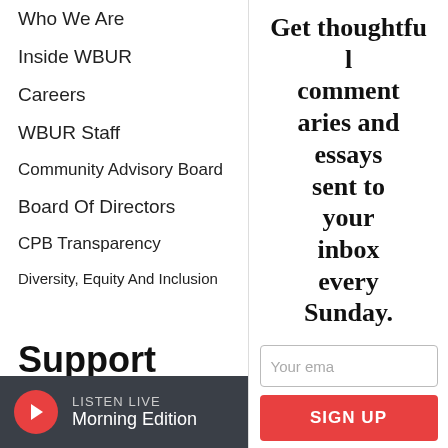Who We Are
Inside WBUR
Careers
WBUR Staff
Community Advisory Board
Board Of Directors
CPB Transparency
Diversity, Equity And Inclusion
Support WBUR
Make A Donation
Get thoughtful commentaries and essays sent to your inbox every Sunday.
Your ema
SIGN UP
LISTEN LIVE Morning Edition